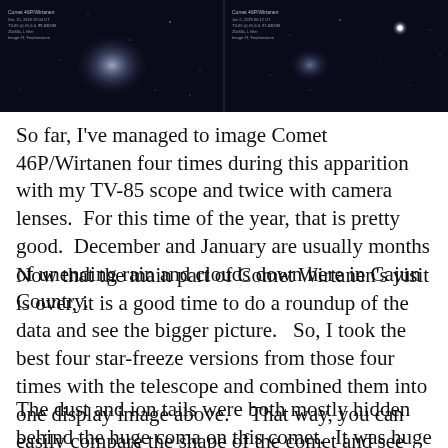[Figure (photo): Two-panel astronomical photograph of Comet 46P/Wirtanen against a dark star field. Left panel shows the comet with a diffuse coma. Right panel shows a comparison view with a bright star visible.]
So far, I've managed to image Comet 46P/Wirtanen four times during this apparition with my TV-85 scope and twice with camera lenses.  For this time of the year, that is pretty good.  December and January are usually months of unending rain and clouds down here in Cajun Country.
Now that the main part of Comet Wirtanen's visit is over, it is a good time to do a roundup of the data and see the bigger picture.   So, I took the best four star-freeze versions from those four times with the telescope and combined them into one display image above.    That way, you can easily compare the shape of the comet and see how it changed depending on our angle of view at the time.
The dust and ion tails were both mostly hidden behind the huge coma on this comet.  It was huge because it was so close to us.  But since it was still farther from the Sun than...